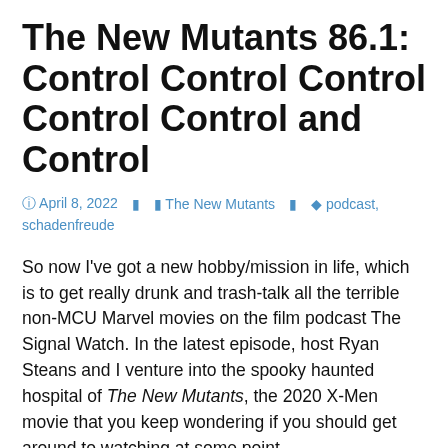The New Mutants 86.1: Control Control Control Control Control and Control
April 8, 2022   The New Mutants   podcast, schadenfreude
So now I've got a new hobby/mission in life, which is to get really drunk and trash-talk all the terrible non-MCU Marvel movies on the film podcast The Signal Watch. In the latest episode, host Ryan Steans and I venture into the spooky haunted hospital of The New Mutants, the 2020 X-Men movie that you keep wondering if you should get around to watching at some point.
This is the story of five X-Teens trapped in a sinister